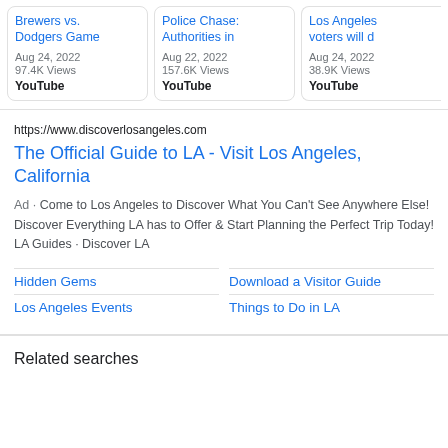[Figure (screenshot): Three YouTube video cards showing: 'Brewers vs. Dodgers Game' (Aug 24, 2022, 97.4K Views, YouTube), 'Police Chase: Authorities in' (Aug 22, 2022, 157.6K Views, YouTube), 'Los Angeles voters will d' (Aug 24, 2022, 38.9K Views, YouTube)]
https://www.discoverlosangeles.com
The Official Guide to LA - Visit Los Angeles, California
Ad · Come to Los Angeles to Discover What You Can't See Anywhere Else! Discover Everything LA has to Offer & Start Planning the Perfect Trip Today! LA Guides · Discover LA
Hidden Gems
Download a Visitor Guide
Los Angeles Events
Things to Do in LA
Related searches